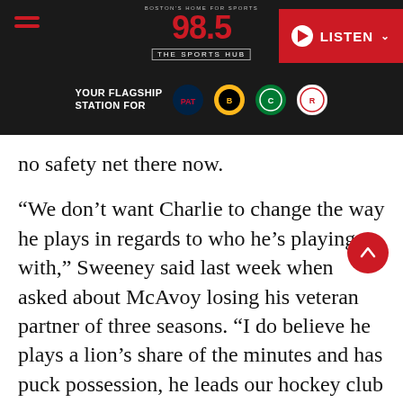[Figure (screenshot): 98.5 The Sports Hub radio station website header. Dark background with hamburger menu on left, 98.5 logo in center, red LISTEN button on right. Below: YOUR FLAGSHIP STATION FOR with Patriots, Bruins, Celtics, and Revolution team logos.]
no safety net there now.
“We don’t want Charlie to change the way he plays in regards to who he’s playing with,” Sweeney said last week when asked about McAvoy losing his veteran partner of three seasons. “I do believe he plays a lion’s share of the minutes and has puck possession, he leads our hockey club in those areas and we don’t want that to change. He shouldn’t feel that he needs any undue pressure on him to change.